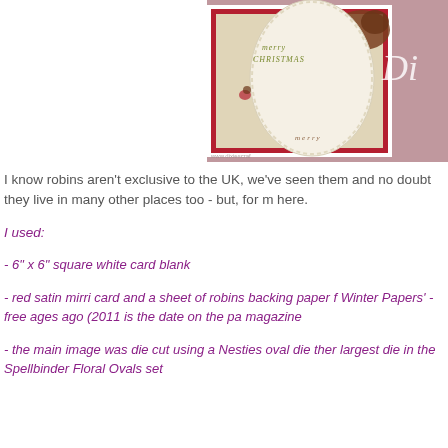[Figure (photo): Partial photo of a Christmas card featuring a robin image die-cut in an oval, red border, merry christmas text on a vintage background, with a script watermark overlay and website URL]
I know robins aren't exclusive to the UK, we've seen them and no doubt they live in many other places too - but, for me here.
I used:
- 6" x 6" square white card blank
- red satin mirri card and a sheet of robins backing paper from 'Winter Papers' - free ages ago (2011 is the date on the paper) magazine
- the main image was die cut using a Nesties oval die then the largest die in the Spellbinder Floral Ovals set